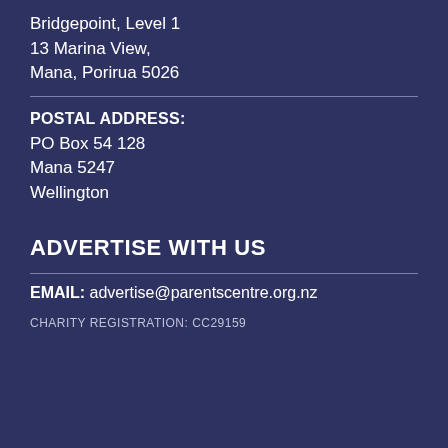Bridgepoint, Level 1
13 Marina View,
Mana, Porirua 5026
POSTAL ADDRESS:
PO Box 54 128
Mana 5247
Wellington
ADVERTISE WITH US
EMAIL: advertise@parentscentre.org.nz
CHARITY REGISTRATION: CC29159